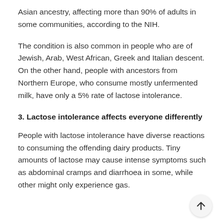Asian ancestry, affecting more than 90% of adults in some communities, according to the NIH.
The condition is also common in people who are of Jewish, Arab, West African, Greek and Italian descent. On the other hand, people with ancestors from Northern Europe, who consume mostly unfermented milk, have only a 5% rate of lactose intolerance.
3. Lactose intolerance affects everyone differently
People with lactose intolerance have diverse reactions to consuming the offending dairy products. Tiny amounts of lactose may cause intense symptoms such as abdominal cramps and diarrhoea in some, while other might only experience gas.